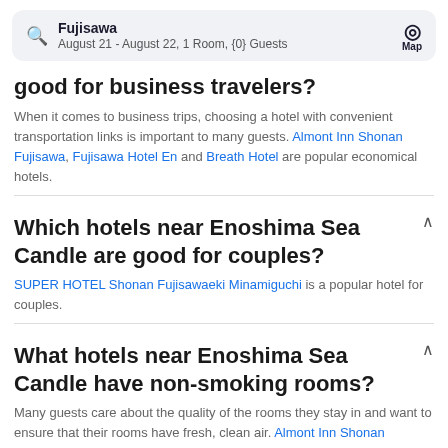Fujisawa August 21 - August 22, 1 Room, {0} Guests
good for business travelers?
When it comes to business trips, choosing a hotel with convenient transportation links is important to many guests. Almont Inn Shonan Fujisawa, Fujisawa Hotel En and Breath Hotel are popular economical hotels.
Which hotels near Enoshima Sea Candle are good for couples?
SUPER HOTEL Shonan Fujisawaeki Minamiguchi is a popular hotel for couples.
What hotels near Enoshima Sea Candle have non-smoking rooms?
Many guests care about the quality of the rooms they stay in and want to ensure that their rooms have fresh, clean air. Almont Inn Shonan